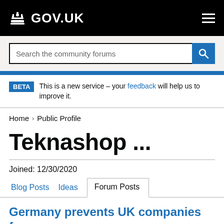GOV.UK
Search the community forums
BETA This is a new service – your feedback will help us to improve it.
Home > Public Profile
Teknashop ...
Joined: 12/30/2020
Blog Posts  Ideas  Forum Posts
Germany prevents UK companies from